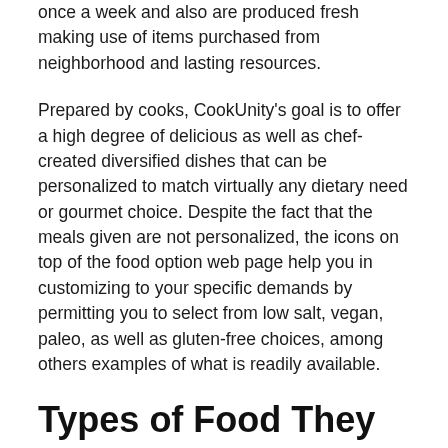once a week and also are produced fresh making use of items purchased from neighborhood and lasting resources.
Prepared by cooks, CookUnity's goal is to offer a high degree of delicious as well as chef-created diversified dishes that can be personalized to match virtually any dietary need or gourmet choice. Despite the fact that the meals given are not personalized, the icons on top of the food option web page help you in customizing to your specific demands by permitting you to select from low salt, vegan, paleo, as well as gluten-free choices, among others examples of what is readily available.
Types of Food They